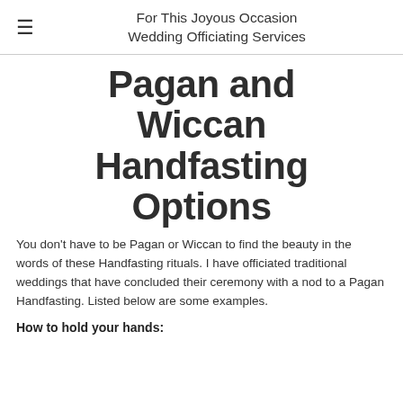For This Joyous Occasion Wedding Officiating Services
Pagan and Wiccan Handfasting Options
You don't have to be Pagan or Wiccan to find the beauty in the words of these Handfasting rituals. I have officiated traditional weddings that have concluded their ceremony with a nod to a Pagan Handfasting. Listed below are some examples.
How to hold your hands: